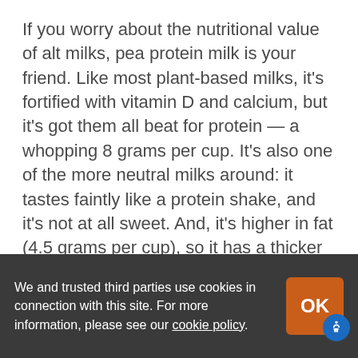If you worry about the nutritional value of alt milks, pea protein milk is your friend. Like most plant-based milks, it's fortified with vitamin D and calcium, but it's got them all beat for protein — a whopping 8 grams per cup. It's also one of the more neutral milks around: it tastes faintly like a protein shake, and it's not at all sweet. And, it's higher in fat (4.5 grams per cup), so it has a thicker texture than most other alt milks.
Pea protein is a shoe-in for high-protein breakfast smoothies, but we think its best
We and trusted third parties use cookies in connection with this site. For more information, please see our cookie policy.